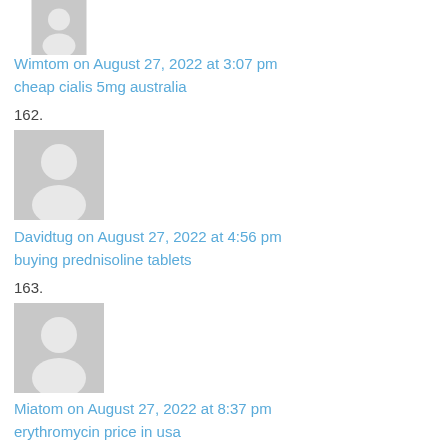[Figure (illustration): Grey placeholder avatar icon (partial, top cut off) for user Wimtom]
Wimtom on August 27, 2022 at 3:07 pm
cheap cialis 5mg australia
162.
[Figure (illustration): Grey placeholder avatar icon for user Davidtug]
Davidtug on August 27, 2022 at 4:56 pm
buying prednisoline tablets
163.
[Figure (illustration): Grey placeholder avatar icon for user Miatom]
Miatom on August 27, 2022 at 8:37 pm
erythromycin price in usa
164.